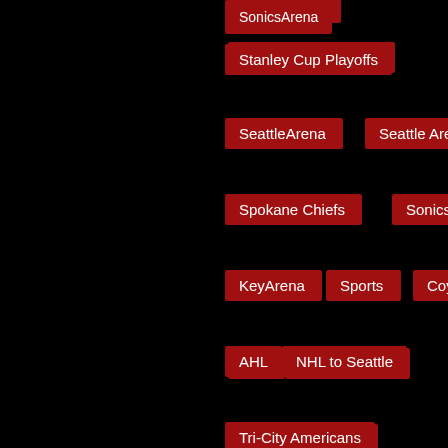SonicsArena
Stanley Cup Playoffs
SeattleArena
Seattle Arena
Spokane Chiefs
Sonics
KeyArena
Sports
Coyotes
AHL
NHL to Seattle
Tri-City Americans
NHL attendance
tampa bay lightning
Gary Bettman
Youth Hockey
Ron Francis
Portland Winterhawks
chris hansen
OVG
PhoenixCoyotes
NHLAttendance
NHL Entry Draft
USA Hockey